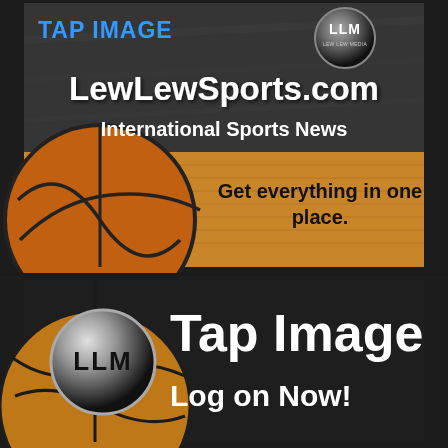[Figure (screenshot): LewLewSports.com advertisement banner with basketball imagery, LLM logo badge, text 'TAP IMAGE', 'LewLewSports.com', 'International Sports News', 'Get everything in one place.']
[Figure (screenshot): Second LLM advertisement banner with large LLM circular logo, text 'Tap Image' and 'Log on Now!' on dark background with basketball imagery]